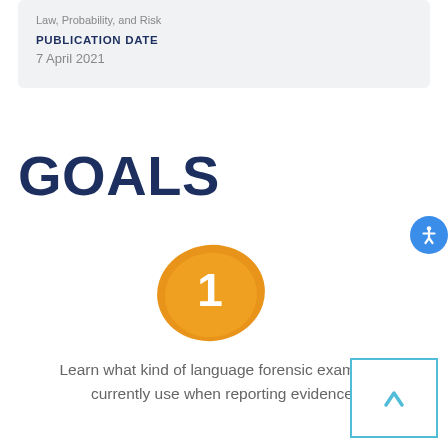Law, Probability, and Risk
PUBLICATION DATE
7 April 2021
GOALS
[Figure (illustration): Golden/amber oval shape with white number 1 in the center, representing goal number 1]
Learn what kind of language forensic examiners currently use when reporting evidence.